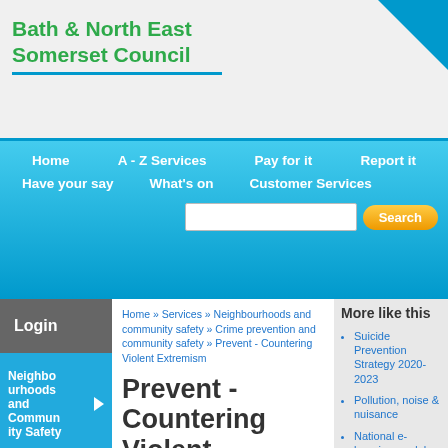Bath & North East Somerset Council
Home | A - Z Services | Pay for it | Report it | Have your say | What's on | Customer Services | Search
Login
Home » Services » Neighbourhoods and community safety » Crime prevention and community safety » Prevent - Countering Violent Extremism
Prevent - Countering Violent Extremism
PREVENT IN Bath and North East S...
More like this
Suicide Prevention Strategy 2020-2023
Pollution, noise & nuisance
National e-learning modules
Neighbourhoods and Community Safety
Crime Prevention and